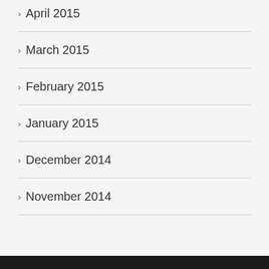April 2015
March 2015
February 2015
January 2015
December 2014
November 2014